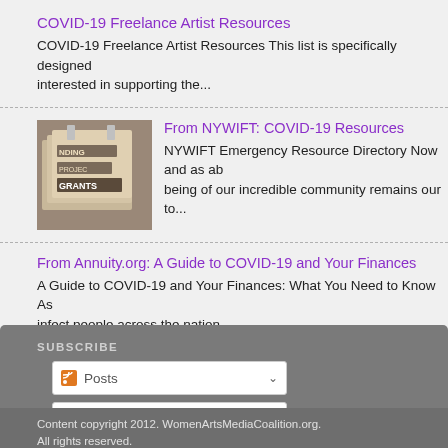COVID-19 Freelance Artist Resources
COVID-19 Freelance Artist Resources This list is specifically designed interested in supporting the...
From NYWIFT: COVID-19 Resources
NYWIFT Emergency Resource Directory Now and as a being of our incredible community remains our to...
From Annuity.org: A Guide to COVID-19 and Your Finances
A Guide to COVID-19 and Your Finances: What You Need to Know As infect people across the nation, ...
SUBSCRIBE
Posts
Comments
Content copyright 2012. WomenArtsMediaCoalition.org. All rights reserved.